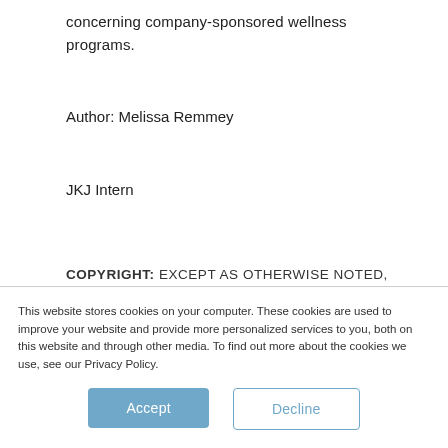concerning company-sponsored wellness programs.
Author: Melissa Remmey
JKJ Intern
COPYRIGHT: EXCEPT AS OTHERWISE NOTED, THE TEXT AND GRAPHICS PROVIDED ON JOHNSON, KENDALL & JOHNSON’S BLOG ARE COPYRIGHTED BY JOHNSON, KENDALL & JOHNSON, INC (JKJ). JKJ DOES,
This website stores cookies on your computer. These cookies are used to improve your website and provide more personalized services to you, both on this website and through other media. To find out more about the cookies we use, see our Privacy Policy.
Accept
Decline